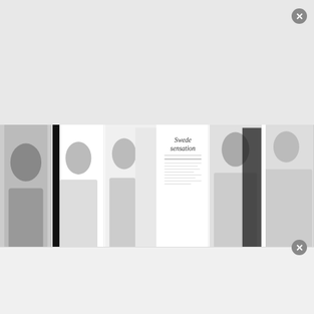[Figure (photo): Black and white photo strip collage of Noomi Rapace from a magazine editorial titled 'Swede sensation', showing multiple fashion poses]
BABYCALL  DEAD MAN DOWN  GALLERY UPDATES  PASSION
Screencaptures update: Babycall, Dead Man Down, Passion
Screencaptures from three of Noomi's films – Babycall, Dead Man Down and Passion – have been re-added to the pho